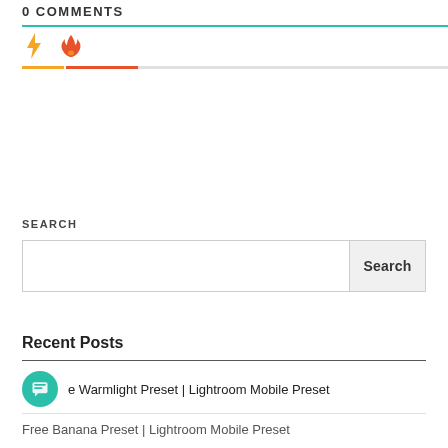0 COMMENTS
[Figure (other): Two tab icons: a yellow lightning bolt and an orange/red fire icon, with colored underlines beneath each]
SEARCH
Search button and input field
Recent Posts
e Warmlight Preset | Lightroom Mobile Preset
Free Banana Preset | Lightroom Mobile Preset (partial)